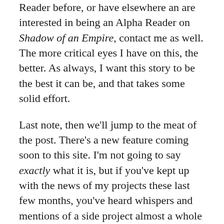Reader before, or have elsewhere an are interested in being an Alpha Reader on Shadow of an Empire, contact me as well. The more critical eyes I have on this, the better. As always, I want this story to be the best it can be, and that takes some solid effort.
Last note, then we'll jump to the meat of the post. There's a new feature coming soon to this site. I'm not going to say exactly what it is, but if you've kept up with the news of my projects these last few months, you've heard whispers and mentions of a side project almost a whole year in coming that's finally hit. It's not another book; I'll tell you that up front. But it will be something you guys may enjoy hearing about. Which is all I'll say for now.